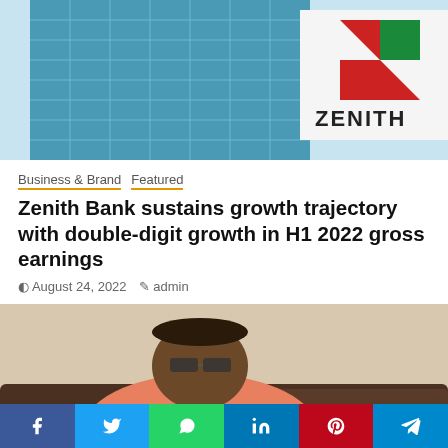[Figure (photo): Zenith Bank building exterior with glass facade and Zenith logo sign (Z in red/green) on the right]
Business & Brand   Featured
Zenith Bank sustains growth trajectory with double-digit growth in H1 2022 gross earnings
August 24, 2022   admin
[Figure (photo): Person wearing orange/pink shirt sitting on a dark leather couch, wearing glasses]
Social share bar: Facebook, Twitter, WhatsApp, LinkedIn, Pinterest, Telegram